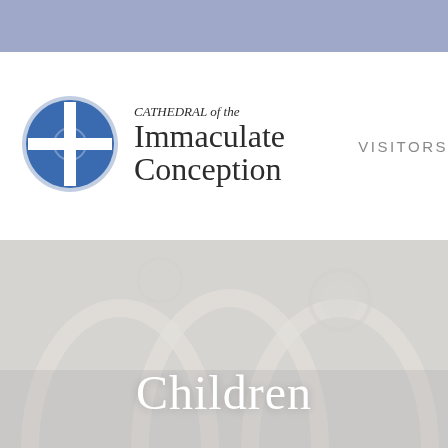[Figure (logo): Cathedral of the Immaculate Conception logo — blue circle with white cross]
CATHEDRAL of the Immaculate Conception
VISITORS
[Figure (photo): Interior of a cathedral showing Gothic arches with faded decorative paintings, overlaid with semi-transparent white wash]
Children
Immaculate Conception Cathedral School
Lower/ Middle School, Coed, Grades PreK3 – 8th G